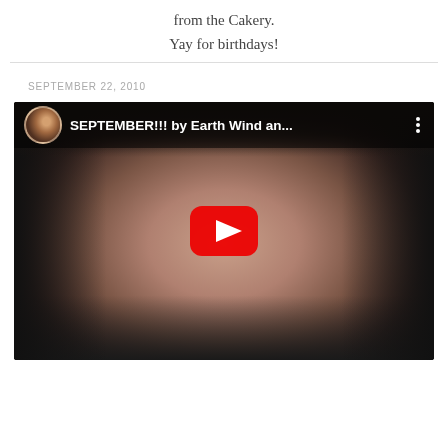from the Cakery.
Yay for birthdays!
SEPTEMBER 22, 2010
[Figure (screenshot): YouTube video embed showing a child wearing headphones with wide eyes looking at camera. Video title reads 'SEPTEMBER!!! by Earth Wind an...' with a red YouTube play button in the center.]